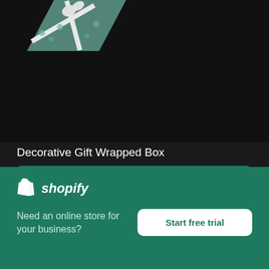[Figure (photo): Top portion of a decorative gift wrapped box with teal/blue floral wrapping paper on dark background]
Decorative Gift Wrapped Box
High resolution download ↓
[Figure (photo): Partial photo showing a brown kraft paper gift with red ribbon on white background]
[Figure (logo): Shopify logo with bag icon]
Need an online store for your business?
Start free trial